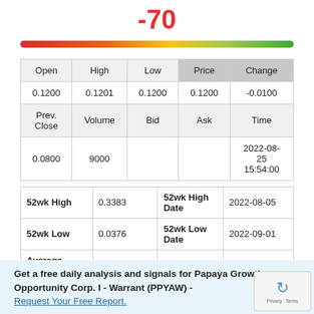-70
[Figure (infographic): Horizontal gauge bar ranging from red (left) to green (right), indicating a score of -70]
| Open | High | Low | Price | Change |
| --- | --- | --- | --- | --- |
| 0.1200 | 0.1201 | 0.1200 | 0.1200 | -0.0100 |
| Prev. Close | Volume | Bid | Ask | Time |
| 0.0800 | 9000 |  |  | 2022-08-25 15:54:00 |
| 52wk High | 0.3383 | 52wk High Date | 2022-08-05 |
| 52wk Low | 0.0376 | 52wk Low Date | 2022-09-01 |
| Average Volume | 2,403 | Assets | 295,225,863M |
| Liabilities | 15,343,976M |  |  |
Get a free daily analysis and signals for Papaya Growth Opportunity Corp. I - Warrant (PPYAW) - Request Your Free Report.